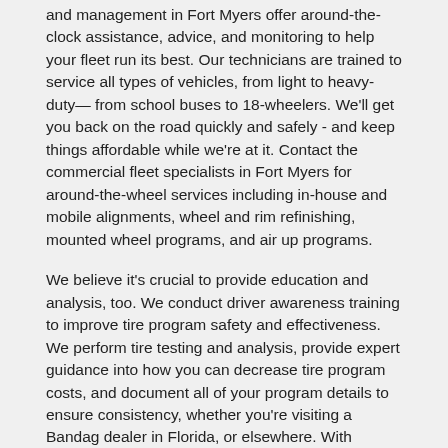and management in Fort Myers offer around-the-clock assistance, advice, and monitoring to help your fleet run its best. Our technicians are trained to service all types of vehicles, from light to heavy-duty— from school buses to 18-wheelers. We'll get you back on the road quickly and safely - and keep things affordable while we're at it. Contact the commercial fleet specialists in Fort Myers for around-the-wheel services including in-house and mobile alignments, wheel and rim refinishing, mounted wheel programs, and air up programs.
We believe it's crucial to provide education and analysis, too. We conduct driver awareness training to improve tire program safety and effectiveness. We perform tire testing and analysis, provide expert guidance into how you can decrease tire program costs, and document all of your program details to ensure consistency, whether you're visiting a Bandag dealer in Florida, or elsewhere. With countrywide coverage and an evolving portfolio of advanced solutions to suit fleets both big and small, only Bandag can deliver the value of partnership over thousands of miles.
24/7 COMMERCIAL ROAD SERVICE IN FORT MYERS, FL